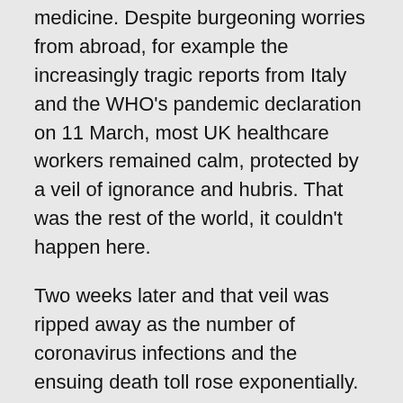medicine. Despite burgeoning worries from abroad, for example the increasingly tragic reports from Italy and the WHO's pandemic declaration on 11 March, most UK healthcare workers remained calm, protected by a veil of ignorance and hubris. That was the rest of the world, it couldn't happen here.
Two weeks later and that veil was ripped away as the number of coronavirus infections and the ensuing death toll rose exponentially.
It was unlike anything I had ever experienced before. The daily intake of patients, usually a diverse list including chest pains and stomach upsets, narrowed down to one ailment alone: shortness of breath. This in itself was frightening. In the history of the NHS, seismic shifts like this have only been seen in the context of devastating but short-lived phenomena like terrorist attacks. COVID-19, however, caused such a sustained